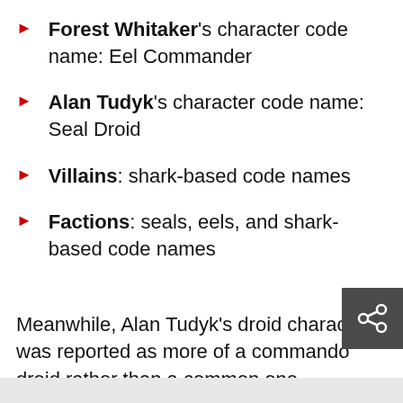Forest Whitaker's character code name: Eel Commander
Alan Tudyk's character code name: Seal Droid
Villains: shark-based code names
Factions: seals, eels, and shark-based code names
Meanwhile, Alan Tudyk's droid character was reported as more of a commando droid rather than a common one.